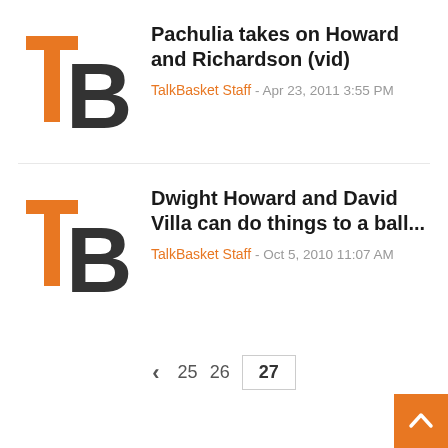[Figure (logo): TalkBasket TB logo with orange T and dark grey B]
Pachulia takes on Howard and Richardson (vid)
TalkBasket Staff - Apr 23, 2011 3:55 PM
[Figure (logo): TalkBasket TB logo with orange T and dark grey B]
Dwight Howard and David Villa can do things to a ball...
TalkBasket Staff - Oct 5, 2010 11:07 AM
< 25 26 27